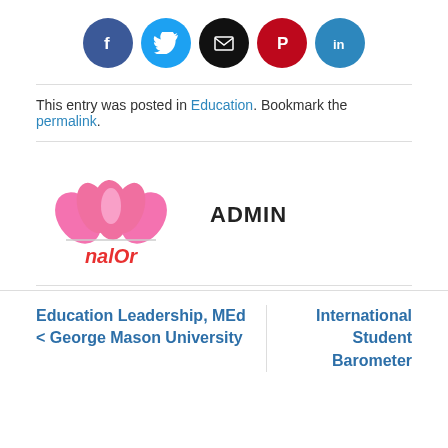[Figure (infographic): Social media share icons: Facebook (blue), Twitter (light blue), Email (black), Pinterest (red), LinkedIn (blue)]
This entry was posted in Education. Bookmark the permalink.
[Figure (logo): Pink lotus flower logo with stylized text 'nalOr' below in red/pink]
ADMIN
Education Leadership, MEd < George Mason University
International Student Barometer